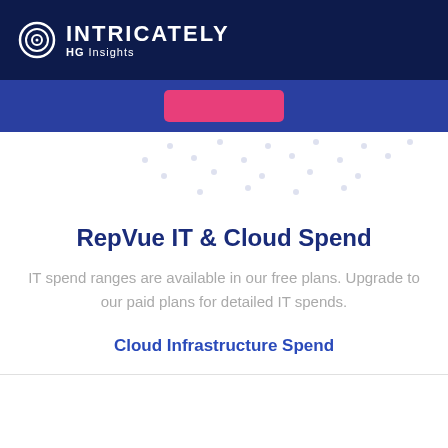INTRICATELY HG Insights
[Figure (screenshot): Blue banner with pink/red rounded button in the center, decorative dot grid pattern below]
RepVue IT & Cloud Spend
IT spend ranges are available in our free plans. Upgrade to our paid plans for detailed IT spends.
Cloud Infrastructure Spend